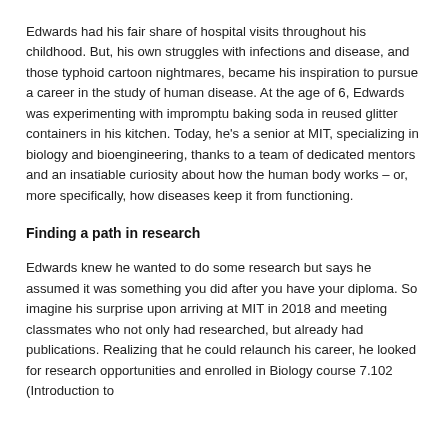Edwards had his fair share of hospital visits throughout his childhood. But, his own struggles with infections and disease, and those typhoid cartoon nightmares, became his inspiration to pursue a career in the study of human disease. At the age of 6, Edwards was experimenting with impromptu baking soda in reused glitter containers in his kitchen. Today, he's a senior at MIT, specializing in biology and bioengineering, thanks to a team of dedicated mentors and an insatiable curiosity about how the human body works – or, more specifically, how diseases keep it from functioning.
Finding a path in research
Edwards knew he wanted to do some research but says he assumed it was something you did after you have your diploma. So imagine his surprise upon arriving at MIT in 2018 and meeting classmates who not only had researched, but already had publications. Realizing that he could relaunch his career, he looked for research opportunities and enrolled in Biology course 7.102 (Introduction to